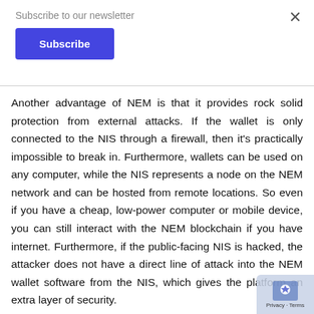Subscribe to our newsletter
Subscribe
Another advantage of NEM is that it provides rock solid protection from external attacks. If the wallet is only connected to the NIS through a firewall, then it's practically impossible to break in. Furthermore, wallets can be used on any computer, while the NIS represents a node on the NEM network and can be hosted from remote locations. So even if you have a cheap, low-power computer or mobile device, you can still interact with the NEM blockchain if you have internet. Furthermore, if the public-facing NIS is hacked, the attacker does not have a direct line of attack into the NEM wallet software from the NIS, which gives the platform an extra layer of security.